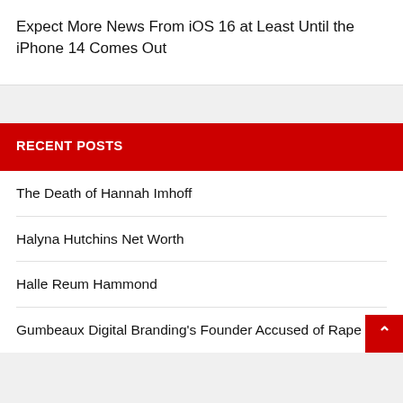Expect More News From iOS 16 at Least Until the iPhone 14 Comes Out
RECENT POSTS
The Death of Hannah Imhoff
Halyna Hutchins Net Worth
Halle Reum Hammond
Gumbeaux Digital Branding's Founder Accused of Rape